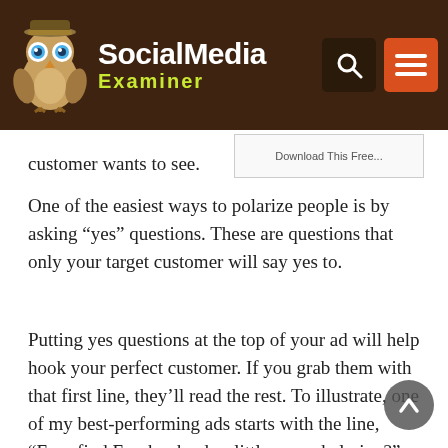SocialMedia Examiner
customer wants to see.
One of the easiest ways to polarize people is by asking “yes” questions. These are questions that only your target customer will say yes to.
Putting yes questions at the top of your ad will help hook your perfect customer. If you grab them with that first line, they’ll read the rest. To illustrate, one of my best-performing ads starts with the line, “Ever find Facebook ads a little overwhelming?”
This ad is targeting people who have tried Facebook ads but are unhappy with their results. A lot of